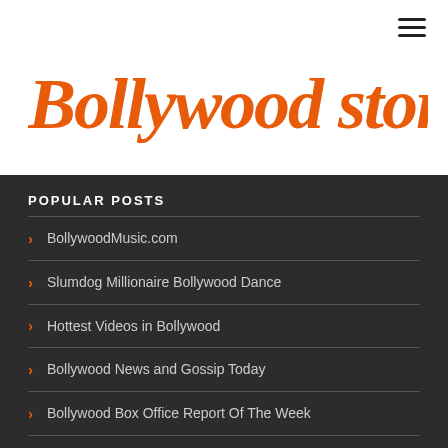[Figure (logo): Bollywood Stories logo in orange brush/handwritten style text on white background]
POPULAR POSTS
BollywoodMusic.com
Slumdog Millionaire Bollywood Dance
Hottest Videos in Bollywood
Bollywood News and Gossip Today
Bollywood Box Office Report Of The Week